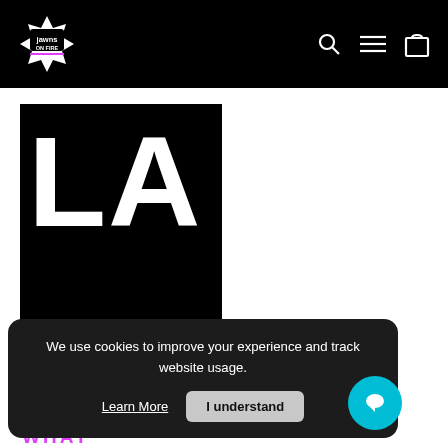Jawns On Fire - navigation header with logo, search, menu, and cart icons
[Figure (screenshot): E-commerce website screenshot showing Jawns On Fire store with a large black block featuring partial white text 'LA' and 'AW' and a cookie consent banner overlay]
We use cookies to improve your experience and track website usage.
Learn More
I understand